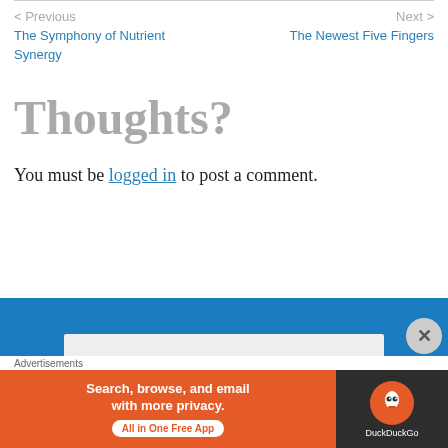< Previous
The Symphony of Nutrient Synergy
Next >
The Newest Five Fingers
Thoughts?
You must be logged in to post a comment.
Advertisements
[Figure (screenshot): DuckDuckGo advertisement banner: orange left panel with text 'Search, browse, and email with more privacy. All in One Free App' and dark right panel with DuckDuckGo logo and brand name.]